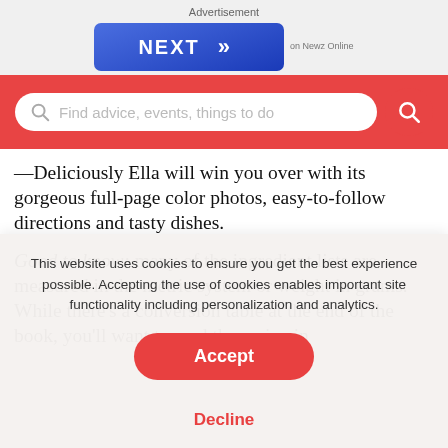Advertisement
[Figure (screenshot): Blue NEXT button with double chevron arrows, labeled 'on Newz Online']
[Figure (screenshot): Red search bar with placeholder text 'Find advice, events, things to do' and red circular search button]
—Deliciously Ella will win you over with its gorgeous full-page color photos, easy-to-follow directions and tasty dishes.
Good to know: many of the ingredient lists are measured in the metric system or weight in grams. While there's a conversion table at the end of the book, you'll want to read the recipe in
This website uses cookies to ensure you get the best experience possible. Accepting the use of cookies enables important site functionality including personalization and analytics.
Accept
Decline